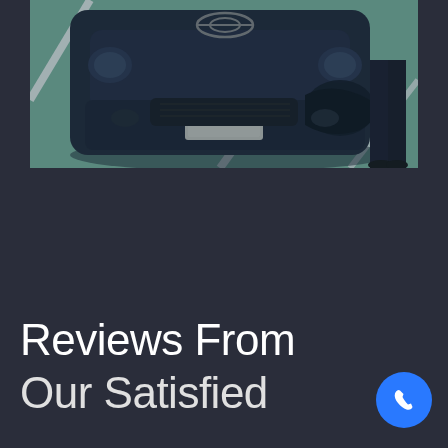[Figure (photo): Photo of a dark Toyota truck/SUV with front-end damage, parked in a parking lot with visible parking space lines. A person's legs are visible on the right side of the vehicle.]
Reviews From Our Satisfied